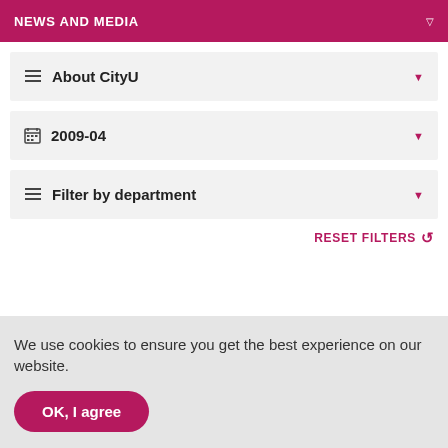NEWS AND MEDIA
About CityU
2009-04
Filter by department
RESET FILTERS
We use cookies to ensure you get the best experience on our website.
OK, I agree